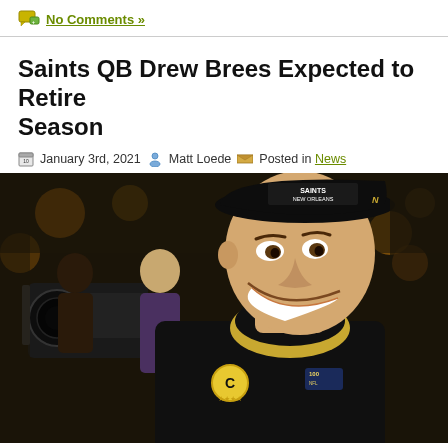No Comments »
Saints QB Drew Brees Expected to Retire Season
January 3rd, 2021  Matt Loede  Posted in News
[Figure (photo): Photo of Saints QB Drew Brees smiling on the field, wearing a black Saints jersey with a captain's C patch and a Saints New Orleans hat, with a TV camera crew visible in the background in a stadium setting.]